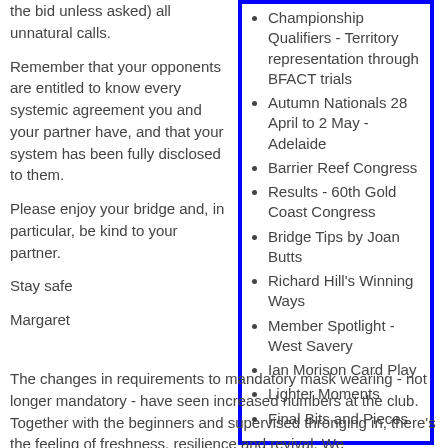the bid unless asked) all unnatural calls.
Remember that your opponents are entitled to know every systemic agreement you and your partner have, and that your system has been fully disclosed to them.
Please enjoy your bridge and, in particular, be kind to your partner.
Stay safe
Margaret
Championship Qualifiers - Territory representation through BFACT trials
Autumn Nationals 28 April to 2 May - Adelaide
Barrier Reef Congress
Results - 60th Gold Coast Congress
Bridge Tips by Joan Butts
Richard Hill's Winning Ways
Member Spotlight - West Savery
Ian Morison Card Play
Lighter Moments
Final Bits and Pieces
The changes in requirements to mandatory mask wearing - not longer mandatory - have seen increased numbers at the club. Together with the beginners and supervised thronging in, there's the feeling of freshness, resilience and revival. We